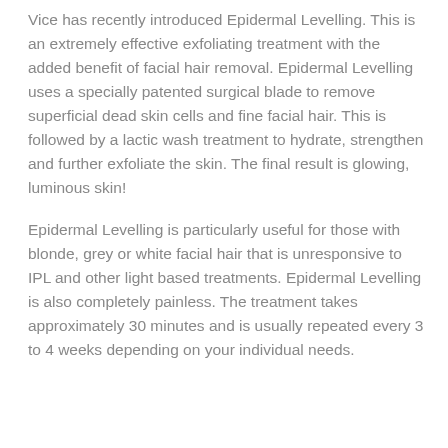Vice has recently introduced Epidermal Levelling. This is an extremely effective exfoliating treatment with the added benefit of facial hair removal. Epidermal Levelling uses a specially patented surgical blade to remove superficial dead skin cells and fine facial hair. This is followed by a lactic wash treatment to hydrate, strengthen and further exfoliate the skin. The final result is glowing, luminous skin!
Epidermal Levelling is particularly useful for those with blonde, grey or white facial hair that is unresponsive to IPL and other light based treatments. Epidermal Levelling is also completely painless. The treatment takes approximately 30 minutes and is usually repeated every 3 to 4 weeks depending on your individual needs.